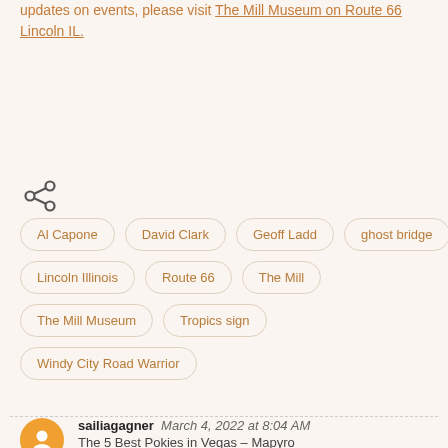updates on events, please visit The Mill Museum on Route 66 Lincoln IL.
[Figure (other): Share icon (three connected dots)]
Al Capone
David Clark
Geoff Ladd
ghost bridge
Lincoln Illinois
Route 66
The Mill
The Mill Museum
Tropics sign
Windy City Road Warrior
sailiagagner  March 4, 2022 at 8:04 AM  The 5 Best Pokies in Vegas – Mapyro